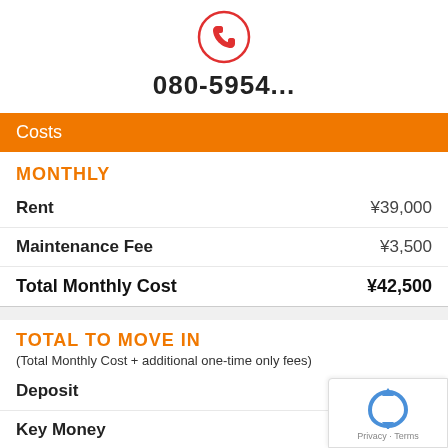[Figure (other): Red phone handset icon inside a red circle]
080-5954...
Costs
MONTHLY
|  |  |
| --- | --- |
| Rent | ¥39,000 |
| Maintenance Fee | ¥3,500 |
| Total Monthly Cost | ¥42,500 |
TOTAL TO MOVE IN
(Total Monthly Cost + additional one-time only fees)
|  |  |
| --- | --- |
| Deposit |  |
| Key Money | ¥0 |